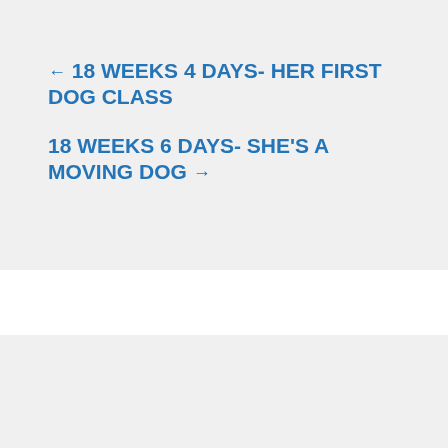← 18 WEEKS 4 DAYS- HER FIRST DOG CLASS
18 WEEKS 6 DAYS- SHE'S A MOVING DOG →